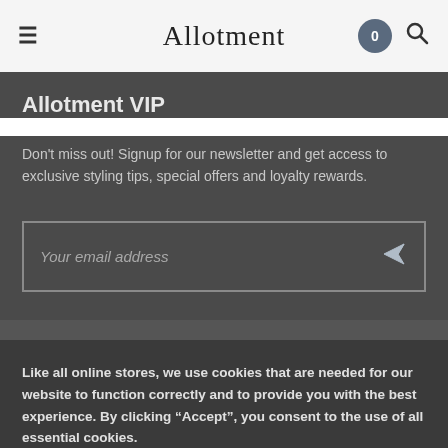Allotment
Allotment VIP
Don't miss out! Signup for our newsletter and get access to exclusive styling tips, special offers and loyalty rewards.
Your email address
Like all online stores, we use cookies that are needed for our website to function correctly and to provide you with the best experience. By clicking “Accept”, you consent to the use of all essential cookies.
Cookie Policy
ACCEPT